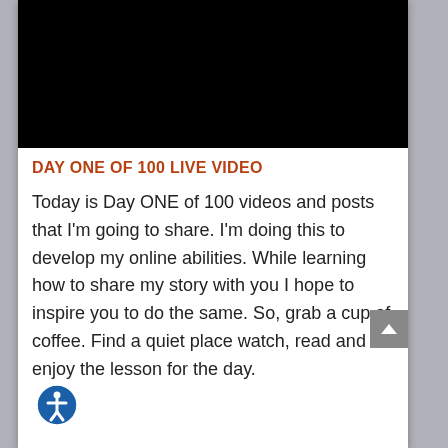[Figure (screenshot): Black video thumbnail placeholder]
DAY ONE OF 100 LIVE VIDEO
Today is Day ONE of 100 videos and posts that I'm going to share. I'm doing this to develop my online abilities. While learning how to share my story with you I hope to inspire you to do the same. So, grab a cup of coffee. Find a quiet place watch, read and enjoy the lesson for the day.